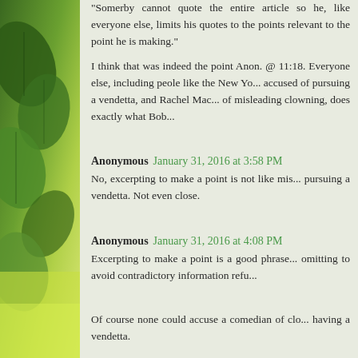"Somerby cannot quote the entire article so he, like everyone else, limits his quotes to the points relevant to the point he is making."
I think that was indeed the point Anon. @ 11:18. Everyone else, including peole like the New Yo... accused of pursuing a vendetta, and Rachel Mac... of misleading clowning, does exactly what Bob...
Anonymous January 31, 2016 at 3:58 PM
No, excerpting to make a point is not like mis... pursuing a vendetta. Not even close.
Anonymous January 31, 2016 at 4:08 PM
Excerpting to make a point is a good phrase... omitting to avoid contradictory information refu...
Of course none could accuse a comedian of clo... having a vendetta.